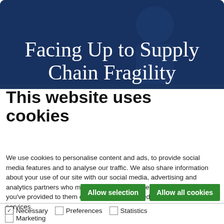[Figure (photo): Dark blue banner with semi-transparent overlay showing a person in the background, with white serif text reading 'Facing Up to Supply Chain Fragility']
This website uses cookies
We use cookies to personalise content and ads, to provide social media features and to analyse our traffic. We also share information about your use of our site with our social media, advertising and analytics partners who may combine it with other information that you've provided to them or that they've collected from your use of their services.
Allow selection | Allow all cookies
☑ Necessary  ☐ Preferences  ☐ Statistics  ☐ Marketing   Show details ∨